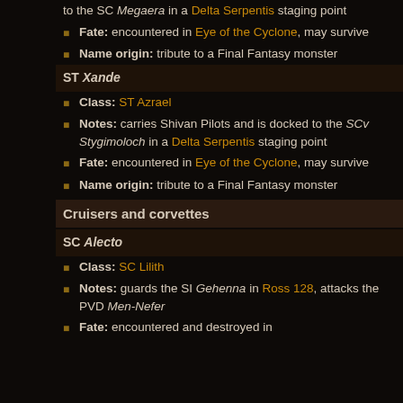to the SC Megaera in a Delta Serpentis staging point
Fate: encountered in Eye of the Cyclone, may survive
Name origin: tribute to a Final Fantasy monster
ST Xande
Class: ST Azrael
Notes: carries Shivan Pilots and is docked to the SCv Stygimoloch in a Delta Serpentis staging point
Fate: encountered in Eye of the Cyclone, may survive
Name origin: tribute to a Final Fantasy monster
Cruisers and corvettes
SC Alecto
Class: SC Lilith
Notes: guards the SI Gehenna in Ross 128, attacks the PVD Men-Nefer
Fate: encountered and destroyed in